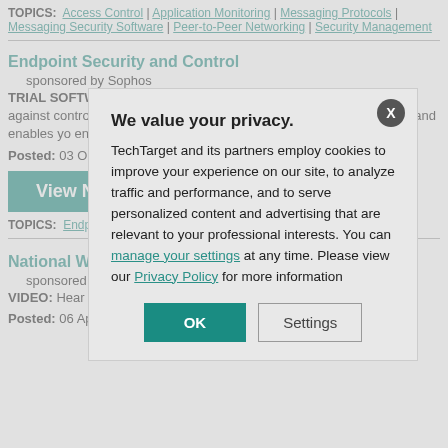TOPICS: Access Control | Application Monitoring | Messaging Protocols | Messaging Security Software | Peer-to-Peer Networking | Security Management
Endpoint Security and Control
sponsored by Sophos
TRIAL SOFTWARE: Learn how Sophos delivers complete protection against controls VoIP, IM, P2P, games and removable storage devices and enables you endpoints.
Posted: 03 Oct 200
View Now
TOPICS: Endpoint Secu Networking | Storage De
National Weather Serv
sponsored by IBM
VIDEO: Hear how M time.
Posted: 06 Apr 201
[Figure (screenshot): Privacy consent modal dialog overlay. Title: 'We value your privacy.' Body text about cookies and privacy policy with links. Two buttons: OK (teal) and Settings (outlined).]